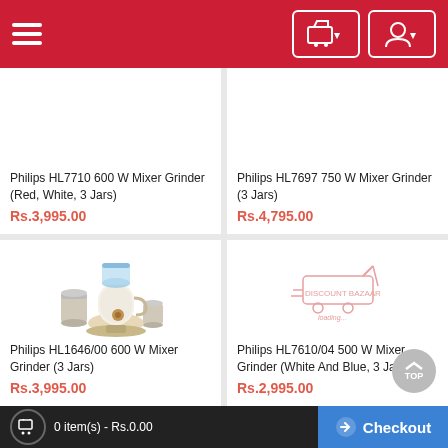Navigation header with hamburger menu, cart and user account buttons
Philips HL7710 600 W Mixer Grinder (Red, White, 3 Jars)
Rs.3,995.00
Philips HL7697 750 W Mixer Grinder (3 Jars)
Rs.4,795.00
[Figure (photo): Philips mixer grinder HL1646/00, white and gold body with 3 stainless steel jars]
Philips HL1646/00 600 W Mixer Grinder (3 Jars)
Rs.3,995.00
[Figure (logo): Discount Bazaar logo placeholder with loading indicator]
Philips HL7610/04 500 W Mixer Grinder (White And Blue, 3 Jars)
Rs.2,995.00
0 item(s) - Rs.0.00   Checkout